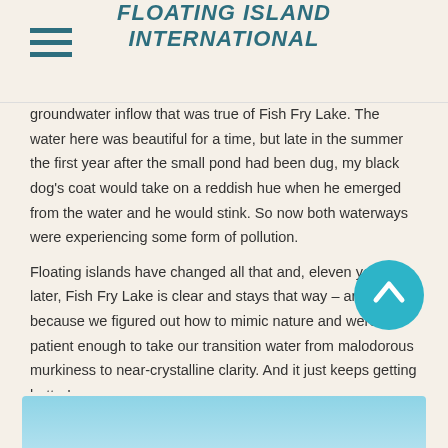FLOATING ISLAND INTERNATIONAL
groundwater inflow that was true of Fish Fry Lake. The water here was beautiful for a time, but late in the summer the first year after the small pond had been dug, my black dog’s coat would take on a reddish hue when he emerged from the water and he would stink. So now both waterways were experiencing some form of pollution.
Floating islands have changed all that and, eleven years later, Fish Fry Lake is clear and stays that way – and it’s all because we figured out how to mimic nature and were patient enough to take our transition water from malodorous murkiness to near-crystalline clarity. And it just keeps getting better!
— B.K.
[Figure (photo): Blue water surface image at bottom of page]